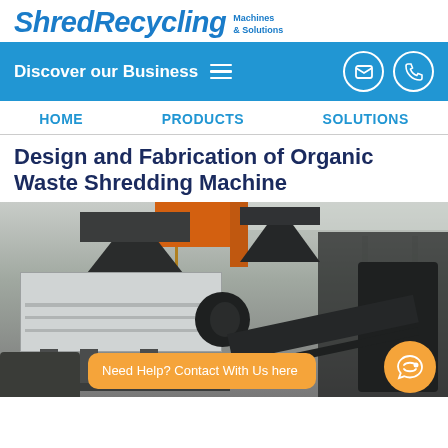ShredRecycling Machines & Solutions
Discover our Business
HOME   PRODUCTS   SOLUTIONS
Design and Fabrication of Organic Waste Shredding Machine
[Figure (photo): Industrial organic waste shredding machine in a factory setting, showing the main shredder body, hopper, conveyor belt, and workshop environment with crane visible in background]
Need Help? Contact With Us here